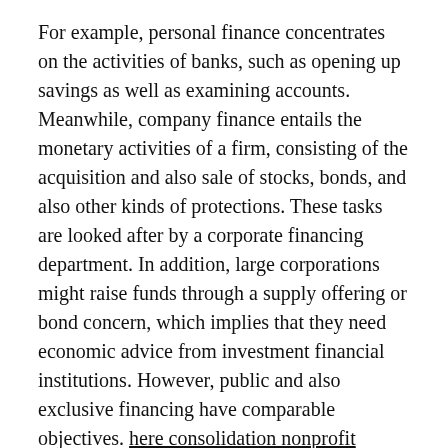For example, personal finance concentrates on the activities of banks, such as opening up savings as well as examining accounts. Meanwhile, company finance entails the monetary activities of a firm, consisting of the acquisition and also sale of stocks, bonds, and also other kinds of protections. These tasks are looked after by a corporate financing department. In addition, large corporations might raise funds through a supply offering or bond concern, which implies that they need economic advice from investment financial institutions. However, public and also exclusive financing have comparable objectives. here consolidation nonprofit
Financing degree holders are commonly specialized. They might seek jobs in economic management, financial investment financial, as well as hedge funds. Various other expertises might concentrate on worldwide finance, corporate money, or